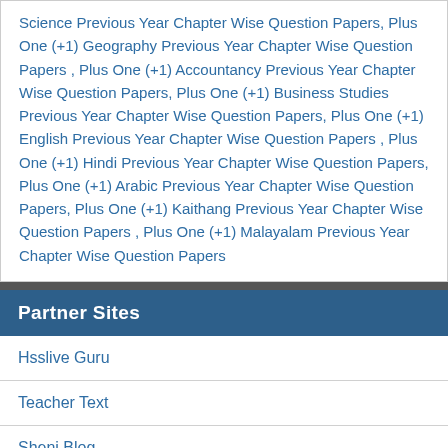Science Previous Year Chapter Wise Question Papers, Plus One (+1) Geography Previous Year Chapter Wise Question Papers , Plus One (+1) Accountancy Previous Year Chapter Wise Question Papers, Plus One (+1) Business Studies Previous Year Chapter Wise Question Papers, Plus One (+1) English Previous Year Chapter Wise Question Papers , Plus One (+1) Hindi Previous Year Chapter Wise Question Papers, Plus One (+1) Arabic Previous Year Chapter Wise Question Papers, Plus One (+1) Kaithang Previous Year Chapter Wise Question Papers , Plus One (+1) Malayalam Previous Year Chapter Wise Question Papers
Partner Sites
Hsslive Guru
Teacher Text
Sheni Blog
Spandanam Blog
Globaldias
LMSTULL
Online Test Result